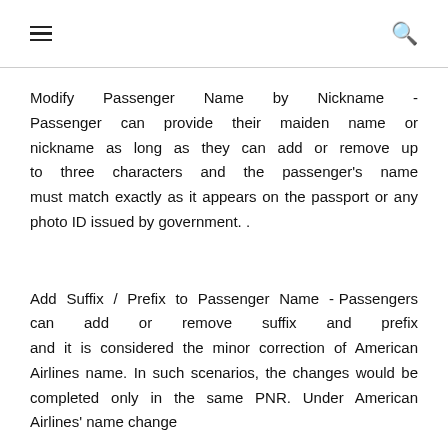≡  🔍
Modify Passenger Name by Nickname - Passenger can provide their maiden name or nickname as long as they can add or remove up to three characters and the passenger's name must match exactly as it appears on the passport or any photo ID issued by government. .
Add Suffix / Prefix to Passenger Name - Passengers can add or remove suffix and prefix and it is considered the minor correction of American Airlines name. In such scenarios, the changes would be completed only in the same PNR. Under American Airlines' name change